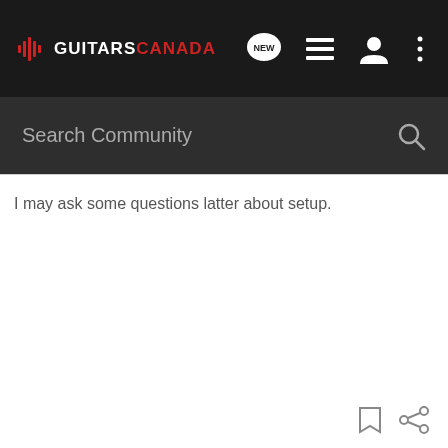GUITARS CANADA — navigation bar with logo, NEW button, list icon, user icon, more icon
Search Community
I may ask some questions latter about setup.